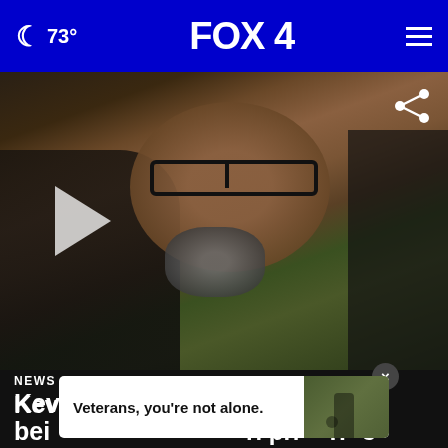🌙 73° FOX 4 ☰
[Figure (screenshot): Video thumbnail showing a man with glasses and a grey beard, wearing a dark jacket, appears to be speaking at an outdoor interview. A play button is visible on the left. A share icon is in the top right corner.]
NEWS
Kevin Strickland speaks after being released from Missouri prison 43 years later
[Figure (other): Advertisement overlay: Veterans, you're not alone.]